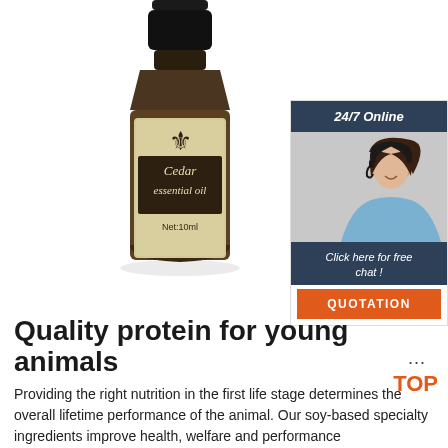[Figure (illustration): A small amber glass dropper bottle with a black cap labeled 'Cedar essential oil, Net:10ml' with a fleur-de-lis symbol on the cream-colored label. Beside it is a customer service chat widget showing a woman with a headset, with header '24/7 Online', text 'Click here for free chat!', and an orange 'QUOTATION' button.]
Quality protein for young animals
Providing the right nutrition in the first life stage determines the overall lifetime performance of the animal. Our soy-based specialty ingredients improve health, welfare and performance